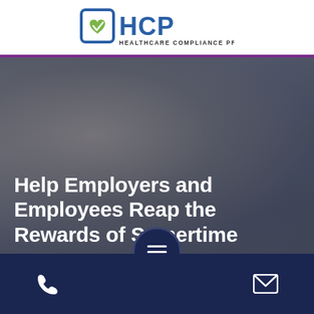[Figure (logo): HCP Healthcare Compliance Pros logo with green heart/checkmark icon and blue square border, text HEALTHCARE COMPLIANCE PROS below]
[Figure (photo): Blurred background photo of healthcare workers including a smiling man with a blue lanyard/badge and a blonde woman, overlaid with dark transparent filter]
Help Employers and Employees Reap the Rewards of Summertime
[Figure (other): Dark navy circular hamburger menu button with three white horizontal lines]
Phone icon | Menu icon | Email icon